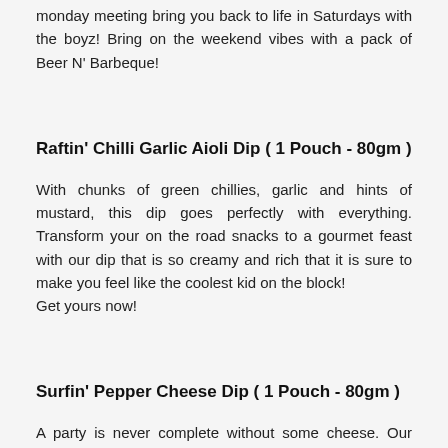monday meeting bring you back to life in Saturdays with the boyz! Bring on the weekend vibes with a pack of Beer N' Barbeque!
Raftin' Chilli Garlic Aioli Dip ( 1 Pouch - 80gm )
With chunks of green chillies, garlic and hints of mustard, this dip goes perfectly with everything. Transform your on the road snacks to a gourmet feast with our dip that is so creamy and rich that it is sure to make you feel like the coolest kid on the block!
Get yours now!
Surfin' Pepper Cheese Dip ( 1 Pouch - 80gm )
A party is never complete without some cheese. Our pepper jack cheesy dip is filled with the delicious creaminess of